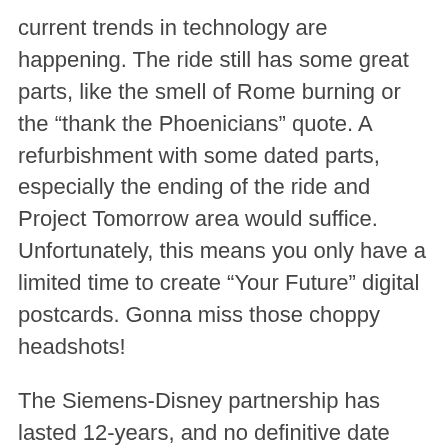current trends in technology are happening. The ride still has some great parts, like the smell of Rome burning or the “thank the Phoenicians” quote. A refurbishment with some dated parts, especially the ending of the ride and Project Tomorrow area would suffice. Unfortunately, this means you only have a limited time to create “Your Future” digital postcards. Gonna miss those choppy headshots!
The Siemens-Disney partnership has lasted 12-years, and no definitive date has been released for when it will end. Epcot is ready for a big transformation with an expected Ratatouille ride coming to France and a possible Guardians of the Galaxy ride too.